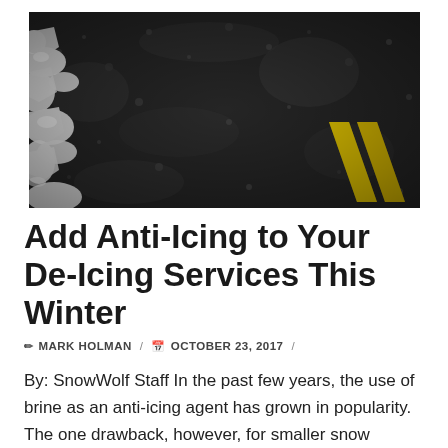[Figure (photo): Close-up black and white photo of an icy/snowy asphalt road surface with a yellow painted road marking (chevron/arrow) visible in the lower right portion of the image.]
Add Anti-Icing to Your De-Icing Services This Winter
✏ MARK HOLMAN / 📅 OCTOBER 23, 2017 /
By: SnowWolf Staff In the past few years, the use of brine as an anti-icing agent has grown in popularity. The one drawback, however, for smaller snow management companies is making and storing brine for the winter season. But, there are pre-made brines on the market for you to try until your business gets to the place where it can invest in a brine maker.